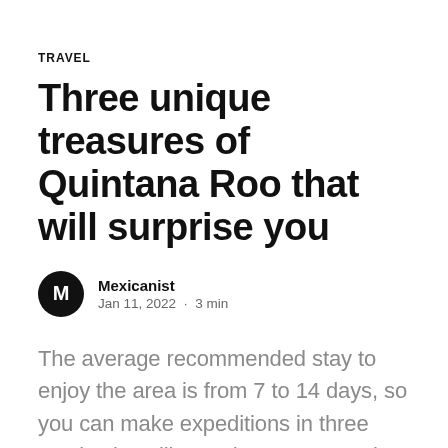TRAVEL
Three unique treasures of Quintana Roo that will surprise you
Mexicanist
Jan 11, 2022 · 3 min
The average recommended stay to enjoy the area is from 7 to 14 days, so you can make expeditions in three captivating villages that turn out to be unforgettable destinations thanks to the scenarios and attractions they